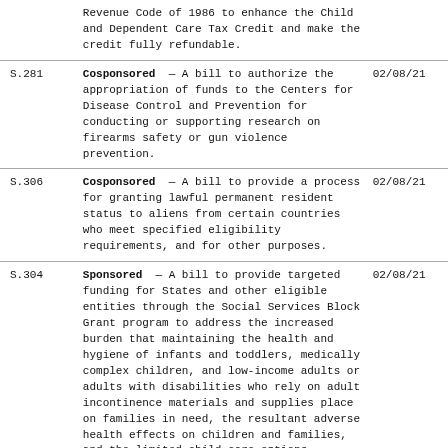| Bill | Description | Date |
| --- | --- | --- |
|  | Revenue Code of 1986 to enhance the Child and Dependent Care Tax Credit and make the credit fully refundable. |  |
| S.281 | Cosponsored — A bill to authorize the appropriation of funds to the Centers for Disease Control and Prevention for conducting or supporting research on firearms safety or gun violence prevention. | 02/08/21 |
| S.306 | Cosponsored — A bill to provide a process for granting lawful permanent resident status to aliens from certain countries who meet specified eligibility requirements, and for other purposes. | 02/08/21 |
| S.304 | Sponsored — A bill to provide targeted funding for States and other eligible entities through the Social Services Block Grant program to address the increased burden that maintaining the health and hygiene of infants and toddlers, medically complex children, and low-income adults or adults with disabilities who rely on adult incontinence materials and supplies place on families in need, the resultant adverse health effects on children and families, and the limited child care options available for infants and toddlers who lack sufficient diapers and diapering supplies, and for | 02/08/21 |